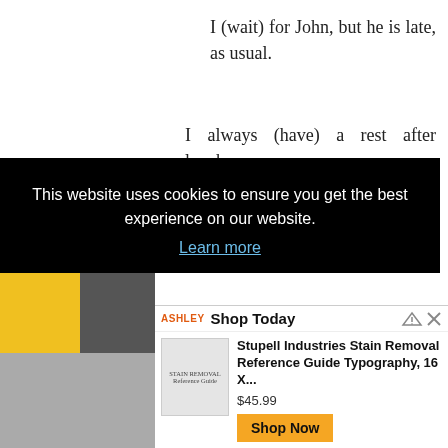I (wait) for John, but he is late, as usual.
I always (have) a rest after lunch.
What you (think) of?
I (think) of my mother just now.
You (know) what time is it?
[Figure (screenshot): Cookie consent overlay with black background: 'This website uses cookies to ensure you get the best experience on our website.' with 'Learn more' link in blue.]
[Figure (screenshot): Advertisement bar for Ashley furniture - 'Shop Today' with product: Stupell Industries Stain Removal Reference Guide Typography, 16 X... priced at $45.99 with orange 'Shop Now' button.]